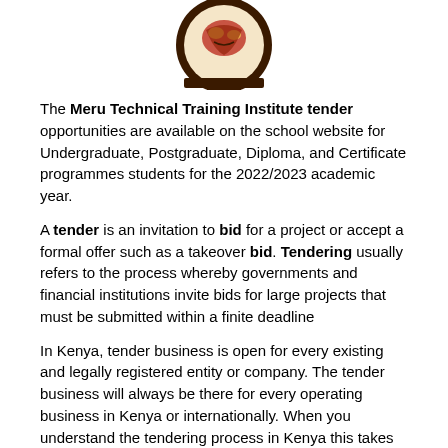[Figure (logo): Meru Technical Training Institute circular logo with red and yellow emblem on brown/black border]
The Meru Technical Training Institute tender opportunities are available on the school website for Undergraduate, Postgraduate, Diploma, and Certificate programmes students for the 2022/2023 academic year.
A tender is an invitation to bid for a project or accept a formal offer such as a takeover bid. Tendering usually refers to the process whereby governments and financial institutions invite bids for large projects that must be submitted within a finite deadline
In Kenya, tender business is open for every existing and legally registered entity or company. The tender business will always be there for every operating business in Kenya or internationally. When you understand the tendering process in Kenya this takes you one step ahead, who knows you can be the next lucky businessman/woman supplying the government of Kenya two million laptops for primary school kids. The supply of goods and services is the key thing in the tendering